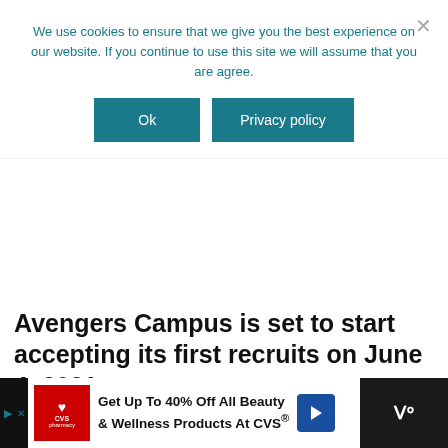We use cookies to ensure that we give you the best experience on our website. If you continue to use this site we will assume that you are agree.
Ok
Privacy policy
Avengers Campus is set to start accepting its first recruits on June 4, 2021.
[Figure (photo): Advertisement banner with two hands forming a heart shape over a green background with text LOVE > HATE]
WHAT'S NEXT → Disneyland in June 2022
[Figure (photo): Circular thumbnail photo of a family at Disneyland]
[Figure (photo): Bottom advertisement bar: Get Up To 40% Off All Beauty & Wellness Products At CVS® with CVS pharmacy logo and navigation arrow icon]